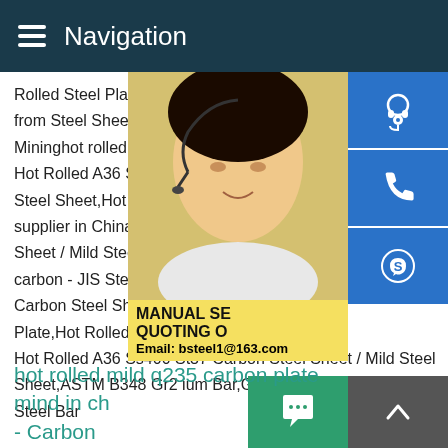Navigation
Rolled Steel Plate Thick 100mm,Steel Pla from Steel Sheets Supplier or Manufacture Mininghot rolled ss400 mild carbon sheet Hot Rolled A36 Ss400 St37 Carbon Steel Steel Sheet,Hot Rolled Steel Plate,Hot Ro supplier in China,offering Hot Rolled A36 S Sheet / Mild Steel Sheet,ASTM B348 Gr2h carbon - JIS Steel - Q235 Mild China Hot Carbon Steel Sheet / Mild .Hot Rolled Stee Plate,Hot Rolled Sheet manufacturer / sup Hot Rolled A36 Ss400 St37 Carbon Steel Sheet / Mild Steel Sheet,ASTM B348 Gr2 ium Bar,GB/T1591 2008 Q345 Carbon Steel Bar
[Figure (photo): Woman with headset, customer service photo with blue icon sidebar showing headset, phone, and Skype icons, and a yellow manual quoting overlay with email bsteel1@163.com]
MANUAL SE QUOTING O Email: bsteel1@163.com
hot rolled mild q235 carbon plate mind in ch - Carbon